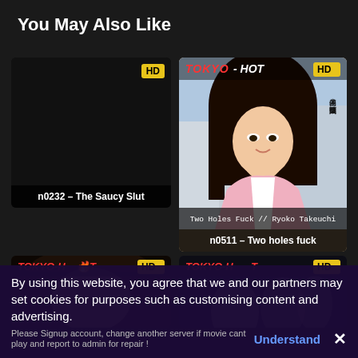You May Also Like
[Figure (screenshot): Video thumbnail card – dark/blank image with HD badge. Title: n0232 – The Saucy Slut]
[Figure (screenshot): Video thumbnail card – Tokyo Hot branded image showing a young Asian woman in pink top, with HD badge, Japanese vertical text on right, subtitle 'Two Holes Fuck / Ryoko Takeuchi'. Title: n0511 – Two holes fuck]
[Figure (screenshot): Video thumbnail card – Tokyo Hot branded partial image showing hair/partial face, with HD badge]
[Figure (screenshot): Video thumbnail card – Tokyo Hot branded partial image with HD badge]
By using this website, you agree that we and our partners may set cookies for purposes such as customising content and advertising.
Please Signup account, change another server if movie cant play and report to admin for repair !
Understand